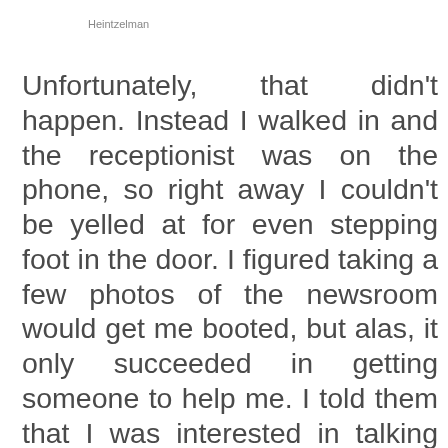Heintzelman
Unfortunately, that didn't happen. Instead I walked in and the receptionist was on the phone, so right away I couldn't be yelled at for even stepping foot in the door. I figured taking a few photos of the newsroom would get me booted, but alas, it only succeeded in getting someone to help me. I told them that I was interested in talking with someone about the recent troubles at the Missoulian, especially the fact that they just saw some employees leave and then turned around and sued them. But instead of being rebuked, I